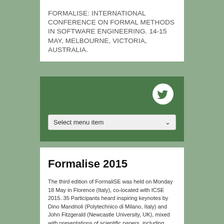FORMALISE: INTERNATIONAL CONFERENCE ON FORMAL METHODS IN SOFTWARE ENGINEERING. 14-15 MAY, MELBOURNE, VICTORIA, AUSTRALIA.
[Figure (screenshot): Navigation bar with dark green background containing a Twitter bird icon (white circle) and a dropdown select menu labeled 'Select menu item']
Formalise 2015
The third edition of FormaliSE was held on Monday 18 May in Florence (Italy), co-located with ICSE 2015. 35 Participants heard inspiring keynotes by Dino Mandrioli (Polytechnico di Milano, Italy) and John Fitzgerald (Newcastle University, UK), mixed with presentations of scientific papers, including discussions. A panel discussion, chaired by Nico Plat and Stefania Gnesi, concluded the workshop. Dino Mandrioli, John Fitzgerald, Alessandro Fantechi and Pamela Zave were the panel members.